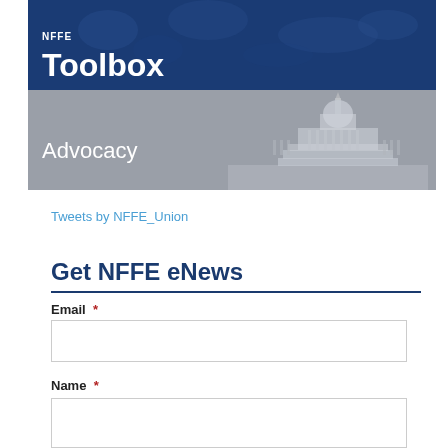[Figure (illustration): NFFE Toolbox banner with dark blue background and crowd of people overlay]
[Figure (illustration): Advocacy banner with US Capitol building silhouette on grey-blue background]
Tweets by NFFE_Union
Get NFFE eNews
Email *
Name *